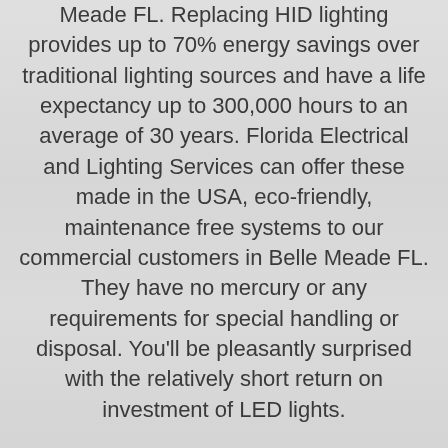Meade FL. Replacing HID lighting provides up to 70% energy savings over traditional lighting sources and have a life expectancy up to 300,000 hours to an average of 30 years. Florida Electrical and Lighting Services can offer these made in the USA, eco-friendly, maintenance free systems to our commercial customers in Belle Meade FL. They have no mercury or any requirements for special handling or disposal. You'll be pleasantly surprised with the relatively short return on investment of LED lights.